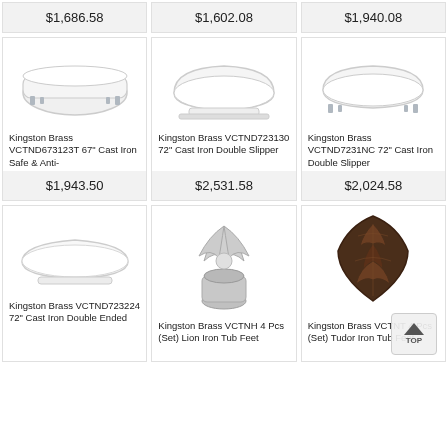$1,686.58
$1,602.08
$1,940.08
[Figure (photo): White cast iron clawfoot bathtub with chrome feet]
Kingston Brass VCTND673123T 67" Cast Iron Safe & Anti-
$1,943.50
[Figure (photo): White cast iron double slipper pedestal bathtub]
Kingston Brass VCTND723130 72" Cast Iron Double Slipper
$2,531.58
[Figure (photo): White cast iron double slipper clawfoot bathtub with chrome feet]
Kingston Brass VCTND7231NC 72" Cast Iron Double Slipper
$2,024.58
[Figure (photo): White cast iron double ended freestanding bathtub]
Kingston Brass VCTND723224 72" Cast Iron Double Ended
[Figure (photo): Silver/chrome lion claw iron tub foot ornament]
Kingston Brass VCTNH 4 Pcs (Set) Lion Iron Tub Feet
[Figure (photo): Dark bronze/oil rubbed Tudor iron tub foot ornament]
Kingston Brass VCTNT 4 Pcs (Set) Tudor Iron Tub Feet